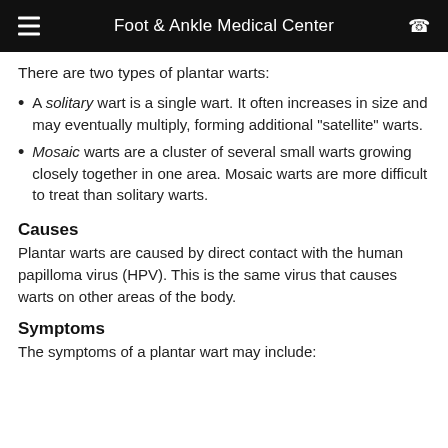Foot & Ankle Medical Center
There are two types of plantar warts:
A solitary wart is a single wart. It often increases in size and may eventually multiply, forming additional "satellite" warts.
Mosaic warts are a cluster of several small warts growing closely together in one area. Mosaic warts are more difficult to treat than solitary warts.
Causes
Plantar warts are caused by direct contact with the human papilloma virus (HPV). This is the same virus that causes warts on other areas of the body.
Symptoms
The symptoms of a plantar wart may include: